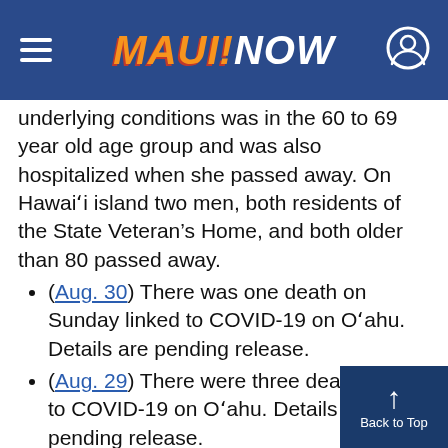MAUI NOW
underlying conditions was in the 60 to 69 year old age group and was also hospitalized when she passed away. On Hawai'i island two men, both residents of the State Veteran's Home, and both older than 80 passed away.
(Aug. 30) There was one death on Sunday linked to COVID-19 on O'ahu. Details are pending release.
(Aug. 29) There were three deaths linked to COVID-19 on O'ahu. Details are pending release.
(Aug. 28) There were also four more deaths linked to COVID-19, bringing the state total since the pandemic began to 59. The deaths include three on O'ahu and one on Maui. A woman on Maui, older than 80, hospitalized with underlying health conditions was Ma…